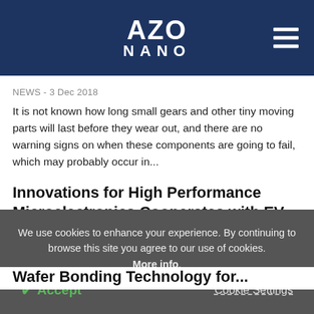AZO NANO
NEWS - 3 Dec 2018
It is not known how long small gears and other tiny moving parts will last before they wear out, and there are no warning signs on when these components are going to fail, which may probably occur in...
Innovations for High Performance Microelectronics Cooperates with EV Group on Low-Temperature Covalent Wafer Bonding Technology for...
We use cookies to enhance your experience. By continuing to browse this site you agree to our use of cookies. More info.
Accept
Cookie Settings